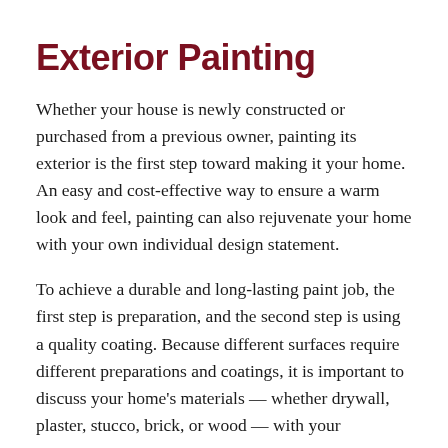Exterior Painting
Whether your house is newly constructed or purchased from a previous owner, painting its exterior is the first step toward making it your home. An easy and cost-effective way to ensure a warm look and feel, painting can also rejuvenate your home with your own individual design statement.
To achieve a durable and long-lasting paint job, the first step is preparation, and the second step is using a quality coating. Because different surfaces require different preparations and coatings, it is important to discuss your home's materials — whether drywall, plaster, stucco, brick, or wood — with your